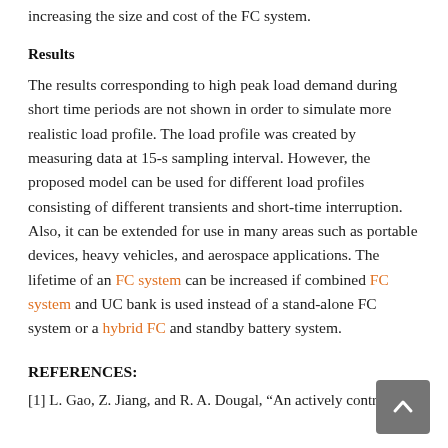increasing the size and cost of the FC system.
Results
The results corresponding to high peak load demand during short time periods are not shown in order to simulate more realistic load profile. The load profile was created by measuring data at 15-s sampling interval. However, the proposed model can be used for different load profiles consisting of different transients and short-time interruption. Also, it can be extended for use in many areas such as portable devices, heavy vehicles, and aerospace applications. The lifetime of an FC system can be increased if combined FC system and UC bank is used instead of a stand-alone FC system or a hybrid FC and standby battery system.
REFERENCES:
[1] L. Gao, Z. Jiang, and R. A. Dougal, “An actively controlled